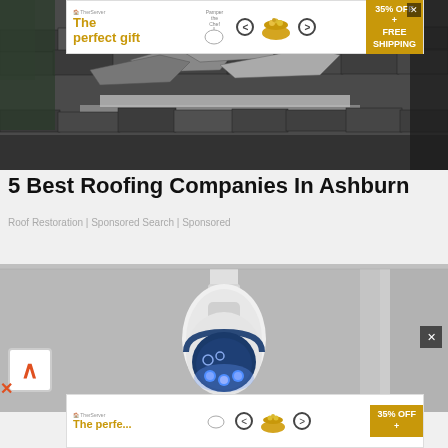[Figure (photo): Ad banner for The Pampered Chef with text 'The perfect gift', product images, navigation arrows, and '35% OFF + FREE SHIPPING' badge]
[Figure (photo): Close-up photo of damaged roof shingles that are lifted, cracked, and peeling]
5 Best Roofing Companies In Ashburn
Roof Restoration | Sponsored Search | Sponsored
[Figure (photo): Close-up photo of a white security camera with blue LED lights mounted near a ceiling]
[Figure (photo): Partial view of bottom ad banner - The Pampered Chef with '35% OFF' badge, partially visible]